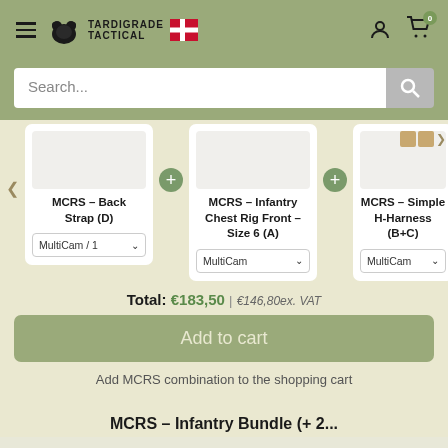[Figure (logo): Tardigrade Tactical logo with bear silhouette and Danish flag]
Search...
MCRS - Back Strap (D)
MultiCam / 1
MCRS - Infantry Chest Rig Front - Size 6 (A)
MultiCam
MCRS - Simple H-Harness (B+C)
MultiCam
Total: €183,50 | €146,80ex. VAT
Add to cart
Add MCRS combination to the shopping cart
MCRS - Infantry Bundle (+ 2...